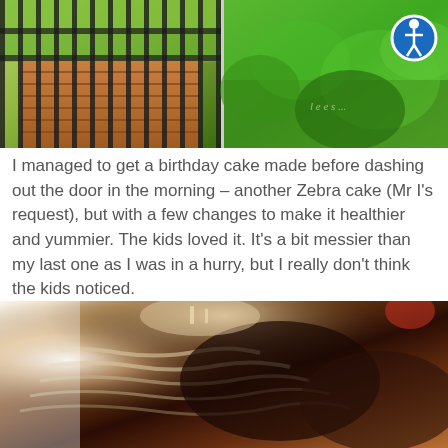[Figure (photo): Two outdoor photos side by side: left shows a wooden deck with black iron fence railings and green lawn/garden beyond; right shows a close-up of green plants/foliage with an accessibility icon (blue circle with white figure) in the top right corner.]
I managed to get a birthday cake made before dashing out the door in the morning – another Zebra cake (Mr I's request), but with a few changes to make it healthier and yummier. The kids loved it. It's a bit messier than my last one as I was in a hurry, but I really don't think the kids noticed.
[Figure (photo): Close-up photograph of a sliced Zebra cake showing the distinctive black and white striped/marbled pattern inside, on a wooden surface. Bright overexposed light on the left side, with candles visible in the upper middle area.]